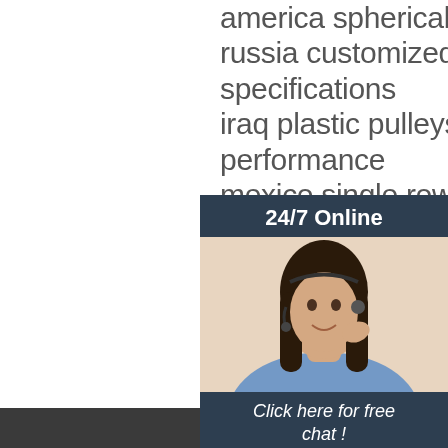america spherical bearings variety
russia customized pulleys complete specifications
iraq plastic pulleys reliable performance
mexico single row angular contact bearing made
ethiopia non-standard bearings know fine quality
zambia linear guide beautiful appearance
mozambique pulley sets reasonable design
morocco tapered roller bearings variety
sudan double row angular contact bearings affordable
angola double row angular contact bearings credit guarantee
burundi straight optical axis luster
[Figure (infographic): 24/7 Online chat widget with photo of woman with headset, 'Click here for free chat!' text and orange QUOTATION button]